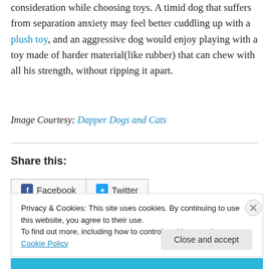consideration while choosing toys. A timid dog that suffers from separation anxiety may feel better cuddling up with a plush toy, and an aggressive dog would enjoy playing with a toy made of harder material(like rubber) that can chew with all his strength, without ripping it apart.
Image Courtesy: Dapper Dogs and Cats
Share this:
Facebook  Twitter
Privacy & Cookies: This site uses cookies. By continuing to use this website, you agree to their use.
To find out more, including how to control cookies, see here: Cookie Policy
Close and accept